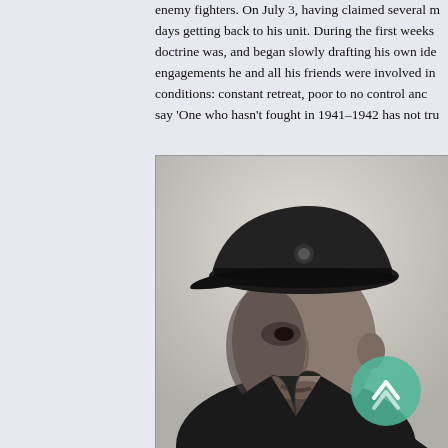enemy fighters. On July 3, having claimed several m days getting back to his unit. During the first weeks doctrine was, and began slowly drafting his own ide engagements he and all his friends were involved in conditions: constant retreat, poor to no control anc say 'One who hasn't fought in 1941–1942 has not tru
[Figure (photo): Black and white photograph of a Soviet military officer in profile/three-quarter view, wearing a peaked military cap with insignia. The officer is in uniform and looking to the left. A circular green navigation/scroll icon is overlaid in the lower-right corner of the photo.]